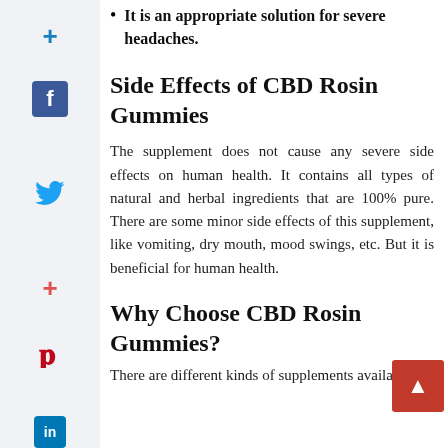It is an appropriate solution for severe headaches.
Side Effects of CBD Rosin Gummies
The supplement does not cause any severe side effects on human health. It contains all types of natural and herbal ingredients that are 100% pure. There are some minor side effects of this supplement, like vomiting, dry mouth, mood swings, etc. But it is beneficial for human health.
Why Choose CBD Rosin Gummies?
There are different kinds of supplements available in